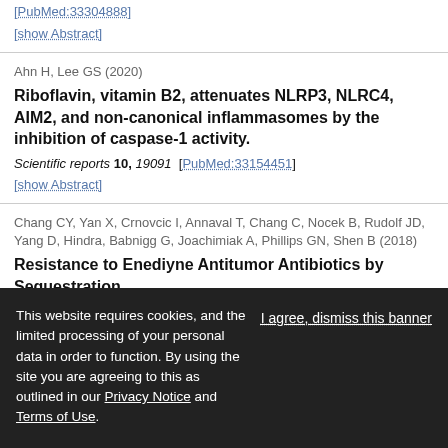[PubMed:33304888]
[show Abstract]
Ahn H, Lee GS (2020)
Riboflavin, vitamin B2, attenuates NLRP3, NLRC4, AIM2, and non-canonical inflammasomes by the inhibition of caspase-1 activity.
Scientific reports 10, 19091 [PubMed:33154451]
[show Abstract]
Chang CY, Yan X, Crnovcic I, Annaval T, Chang C, Nocek B, Rudolf JD, Yang D, Hindra, Babnigg G, Joachimiak A, Phillips GN, Shen B (2018)
Resistance to Enediyne Antitumor Antibiotics by Sequestration.
Cell chemical biology 25, 1075-1085.e4 [PubMed:29937405]
[show Abstract]
This website requires cookies, and the limited processing of your personal data in order to function. By using the site you are agreeing to this as outlined in our Privacy Notice and Terms of Use. | I agree, dismiss this banner